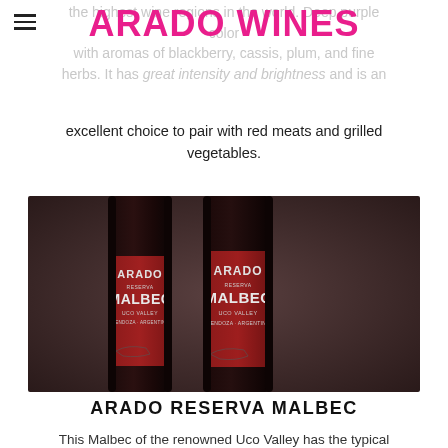≡  ARADO WINES
the highest wine regions in the world. Deep purple color with aromas of blackberry, cassis, plum, and fine herbs. It has great intensity and brightness and is an excellent choice to pair with red meats and grilled vegetables.
[Figure (photo): Two bottles of Arado Reserva Malbec wine from Uco Valley, Mendoza, Argentina, with dark red labels, photographed against a dark brown background.]
ARADO RESERVA MALBEC
This Malbec of the renowned Uco Valley has the typical